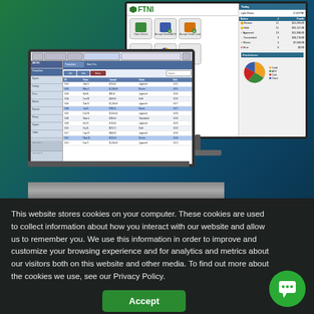[Figure (screenshot): Marketing screenshot showing a desktop monitor and laptop both running FTNI payment processing software. The monitor displays the FTNI web portal with navigation icons (Open Check, Accept Check/ACH, Accept Credit Card, View Checks, See Reports, Search), a summary table with transaction statuses (Review: 11 $11,209.09, Hold: 11 $91,122.98, Approved: 19 $11,338.00, Transmitted: 9 $18,278.08, Return: 4 $7,568.08, Error: 0 $0.00), and a pie chart legend showing Credit, ACH, Cash, Check. The laptop shows a desktop application interface with sidebar navigation, toolbar, and a data grid with multiple rows of payment data.]
This website stores cookies on your computer. These cookies are used to collect information about how you interact with our website and allow us to remember you. We use this information in order to improve and customize your browsing experience and for analytics and metrics about our visitors both on this website and other media. To find out more about the cookies we use, see our Privacy Policy.